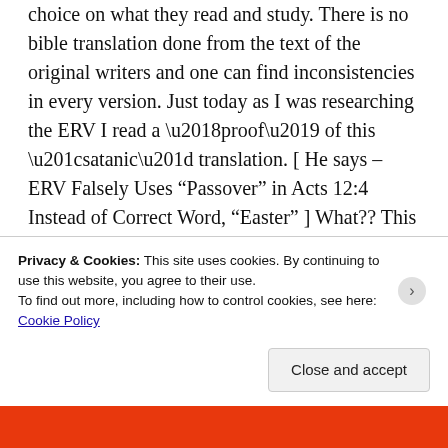choice on what they read and study. There is no bible translation done from the text of the original writers and one can find inconsistencies in every version. Just today as I was researching the ERV I read a ‘proof’ of this “satanic” translation. [ He says – ERV Falsely Uses “Passover” in Acts 12:4 Instead of Correct Word, “Easter” ] What?? This man is making the words used in the KJV the original inspired words and how dare the ERV translate it differently to the KJV. This is a very silly ‘proof’ and Easter is not the correct word. The Greek word ‘pascha’ for passover, according to Strongs concordance
Privacy & Cookies: This site uses cookies. By continuing to use this website, you agree to their use.
To find out more, including how to control cookies, see here: Cookie Policy